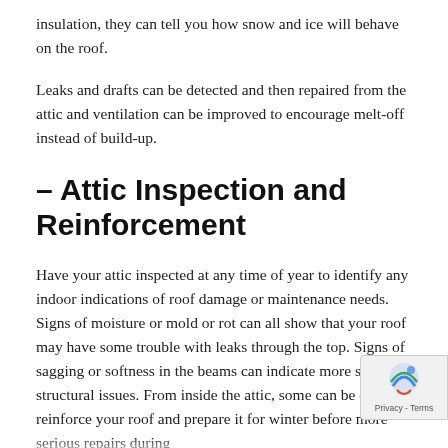insulation, they can tell you how snow and ice will behave on the roof.
Leaks and drafts can be detected and then repaired from the attic and ventilation can be improved to encourage melt-off instead of build-up.
– Attic Inspection and Reinforcement
Have your attic inspected at any time of year to identify any indoor indications of roof damage or maintenance needs. Signs of moisture or mold or rot can all show that your roof may have some trouble with leaks through the top. Signs of sagging or softness in the beams can indicate more serious structural issues. From inside the attic, some can be done to reinforce your roof and prepare it for winter before more serious repairs during